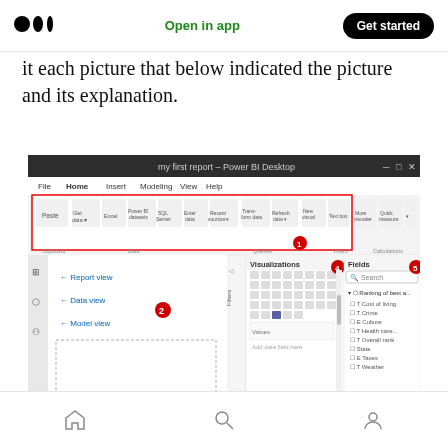Open in app | Get started
it each picture that below indicated the picture and its explanation.
[Figure (screenshot): Power BI Desktop screenshot showing the Home ribbon menu with labeled callouts: 1 (Queries section), 2 (left panel with Report view, Data view, Model view), 3 (page tabs: Page 1, Page 2, Page 3 with + button), 4 (Visualizations panel), 5 (Fields panel with Search and field list including Ranking of best a..., Cost of living, Crime, Culture, Health care..., Overall rank, State, Taxes, Weather)]
Home | Search | Profile